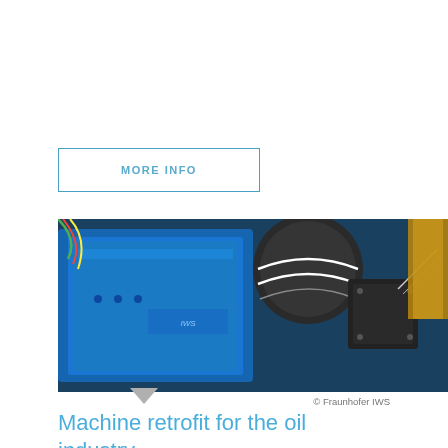MORE INFO
[Figure (photo): Close-up photo of a blue laser hardening and coating machine component with black cylindrical optics and metallic fixtures, with golden tubing visible in background. Copyright Fraunhofer IWS.]
© Fraunhofer IWS
Machine retrofit for the oil industry
IWS engineers retrofitted a laser hardening and coating machine to improve process safety, efficiency and